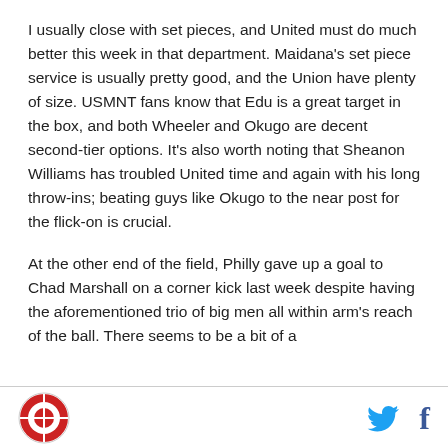I usually close with set pieces, and United must do much better this week in that department. Maidana's set piece service is usually pretty good, and the Union have plenty of size. USMNT fans know that Edu is a great target in the box, and both Wheeler and Okugo are decent second-tier options. It's also worth noting that Sheanon Williams has troubled United time and again with his long throw-ins; beating guys like Okugo to the near post for the flick-on is crucial.
At the other end of the field, Philly gave up a goal to Chad Marshall on a corner kick last week despite having the aforementioned trio of big men all within arm's reach of the ball. There seems to be a bit of a
Logo and social media icons